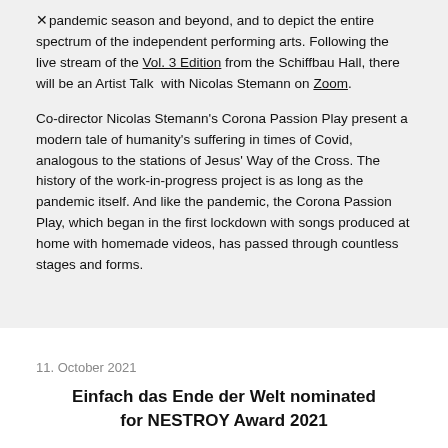pandemic season and beyond, and to depict the entire spectrum of the independent performing arts. Following the live stream of the Vol. 3 Edition from the Schiffbau Hall, there will be an Artist Talk with Nicolas Stemann on Zoom.
Co-director Nicolas Stemann's Corona Passion Play present a modern tale of humanity's suffering in times of Covid, analogous to the stations of Jesus' Way of the Cross. The history of the work-in-progress project is as long as the pandemic itself. And like the pandemic, the Corona Passion Play, which began in the first lockdown with songs produced at home with homemade videos, has passed through countless stages and forms.
11. October 2021
Einfach das Ende der Welt nominated for NESTROY Award 2021
Our in-house director Christopher Rüping has been nominated for the Viennese NESTROY 2021 Theatre Award in the category Best German-Language Performance with Einfach das Ende der Welt (It's...